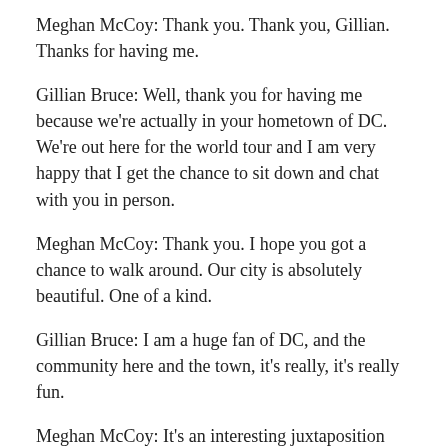Meghan McCoy: Thank you. Thank you, Gillian. Thanks for having me.
Gillian Bruce: Well, thank you for having me because we're actually in your hometown of DC. We're out here for the world tour and I am very happy that I get the chance to sit down and chat with you in person.
Meghan McCoy: Thank you. I hope you got a chance to walk around. Our city is absolutely beautiful. One of a kind.
Gillian Bruce: I am a huge fan of DC, and the community here and the town, it's really, it's really fun.
Meghan McCoy: It's an interesting juxtaposition between various city lifes throughout the US, it's kind of an amalgamation of what we have to offer in this country.